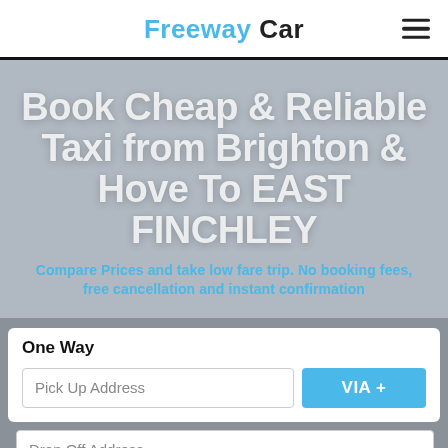Freeway Car
Book Cheap & Reliable Taxi from Brighton & Hove To EAST FINCHLEY
Compare Prices and take low fare trip. No booking fees, free cancellation and instant confirmation
One Way
Pick Up Address
VIA +
Drop Off Address